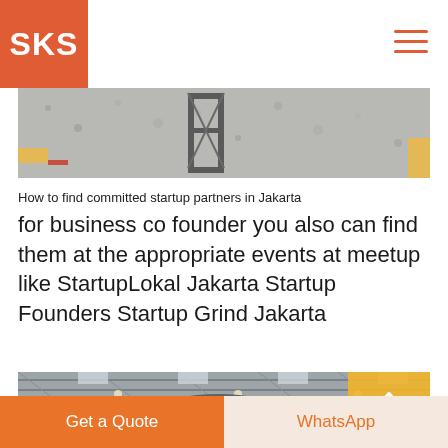SKS
[Figure (photo): Industrial/gravel site photo showing gravel ground and metal equipment structure]
How to find committed startup partners in Jakarta
for business co founder you also can find them at the appropriate events at meetup like StartupLokal Jakarta Startup Founders Startup Grind Jakarta
[Figure (photo): Interior of a large industrial warehouse with steel roof structure and large cylindrical equipment]
Get a Quote  WhatsApp